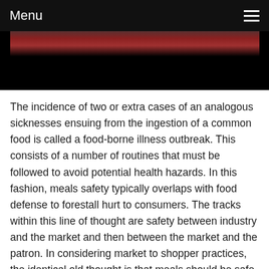Menu
[Figure (photo): Partial view of food items, bottom portion cut off and fading to black]
The incidence of two or extra cases of an analogous sicknesses ensuing from the ingestion of a common food is called a food-borne illness outbreak. This consists of a number of routines that must be followed to avoid potential health hazards. In this fashion, meals safety typically overlaps with food defense to forestall hurt to consumers. The tracks within this line of thought are safety between industry and the market and then between the market and the patron. In considering market to shopper practices, the identical old thought is that meals should be safe in the market and the priority is protected delivery and preparation